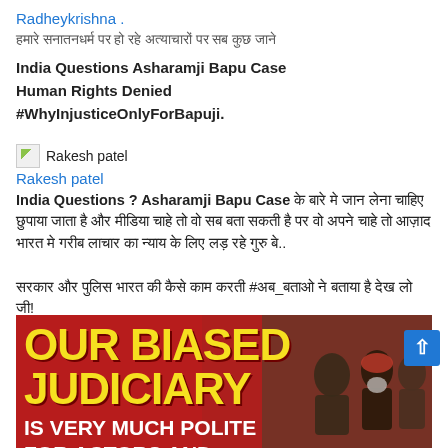Radheykrishna .
हमारे सनातनधर्म पर हो रहे अत्याचारों पर सब कुछ जाने
India Questions Asharamji Bapu Case Human Rights Denied #WhyInjusticeOnlyForBapuji.
[Figure (photo): Broken image icon for Rakesh patel avatar]
Rakesh patel
India Questions ? Asharamji Bapu Case के बारे मे जान लेना चाहिए छुपाया जाता है और मीडिया चाहे तो वो सब बता सकती है पर वो अपने चाहे तो आज़ाद भारत मे गरीब लाचार का न्याय के लिए लड़ रहे गुरु बे.. सरकार और पुलिस भारत की कैसे काम करती #अब_बताओ ने बताया है देख लो जी! Human Rights Denied.
[Figure (photo): Red banner image with yellow text OUR BIASED JUDICIARY IS VERY MUCH POLITE FOR ACTORS AND, with crowd/people image on the right]